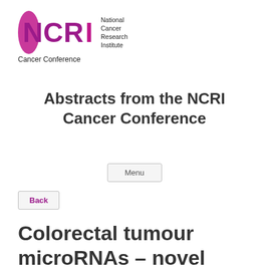[Figure (logo): NCRI National Cancer Research Institute Cancer Conference logo with purple NCRI letters and pink/purple graphic element]
Abstracts from the NCRI Cancer Conference
Menu
Back
Colorectal tumour microRNAs – novel biomarkers of tumour